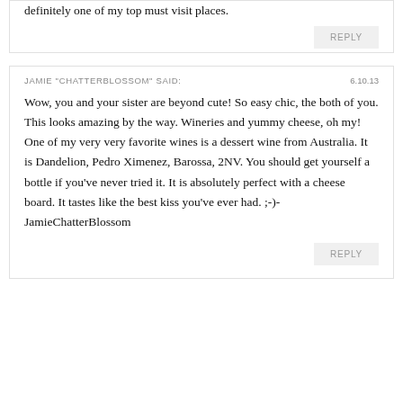definitely one of my top must visit places.
REPLY
JAMIE "CHATTERBLOSSOM" SAID:
6.10.13
Wow, you and your sister are beyond cute! So easy chic, the both of you. This looks amazing by the way. Wineries and yummy cheese, oh my! One of my very very favorite wines is a dessert wine from Australia. It is Dandelion, Pedro Ximenez, Barossa, 2NV. You should get yourself a bottle if you've never tried it. It is absolutely perfect with a cheese board. It tastes like the best kiss you've ever had. ;-)-JamieChatterBlossom
REPLY